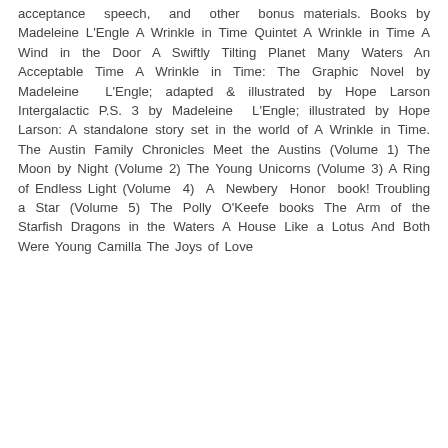acceptance speech, and other bonus materials. Books by Madeleine L'Engle A Wrinkle in Time Quintet A Wrinkle in Time A Wind in the Door A Swiftly Tilting Planet Many Waters An Acceptable Time A Wrinkle in Time: The Graphic Novel by Madeleine L'Engle; adapted & illustrated by Hope Larson Intergalactic P.S. 3 by Madeleine L'Engle; illustrated by Hope Larson: A standalone story set in the world of A Wrinkle in Time. The Austin Family Chronicles Meet the Austins (Volume 1) The Moon by Night (Volume 2) The Young Unicorns (Volume 3) A Ring of Endless Light (Volume 4) A Newbery Honor book! Troubling a Star (Volume 5) The Polly O'Keefe books The Arm of the Starfish Dragons in the Waters A House Like a Lotus And Both Were Young Camilla The Joys of Love